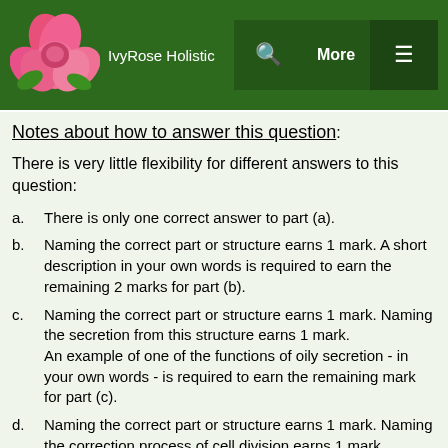IvyRose Holistic
Notes about how to answer this question:
There is very little flexibility for different answers to this question:
a. There is only one correct answer to part (a).
b. Naming the correct part or structure earns 1 mark. A short description in your own words is required to earn the remaining 2 marks for part (b).
c. Naming the correct part or structure earns 1 mark. Naming the secretion from this structure earns 1 mark. An example of one of the functions of oily secretion - in your own words - is required to earn the remaining mark for part (c).
d. Naming the correct part or structure earns 1 mark. Naming the correction process of cell division earns 1 mark.